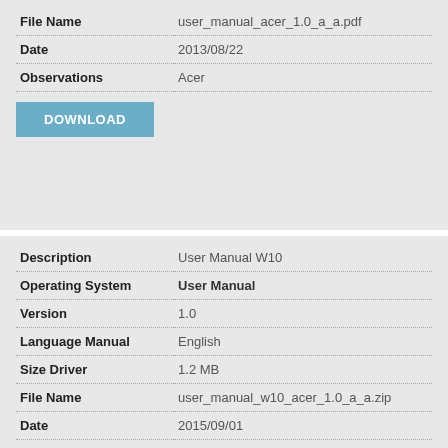| Field | Value |
| --- | --- |
| File Name | user_manual_acer_1.0_a_a.pdf |
| Date | 2013/08/22 |
| Observations | Acer |
DOWNLOAD
| Field | Value |
| --- | --- |
| Description | User Manual W10 |
| Operating System | User Manual |
| Version | 1.0 |
| Language Manual | English |
| Size Driver | 1.2 MB |
| File Name | user_manual_w10_acer_1.0_a_a.zip |
| Date | 2015/09/01 |
| Observations | Acer |